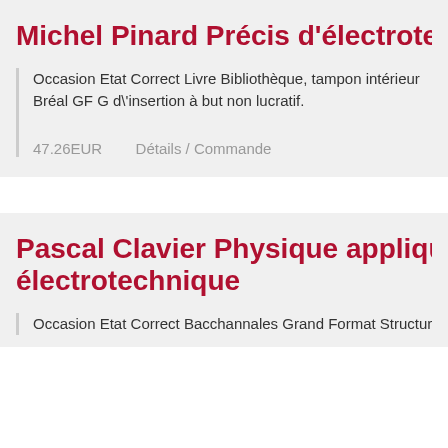Michel Pinard Précis d'électrotechnique
Occasion Etat Correct Livre Bibliothèque, tampon intérieur Bréal GF G d'insertion à but non lucratif.
47.26EUR    Détails / Commande
Pascal Clavier Physique appliquée Term électrotechnique
Occasion Etat Correct Bacchannales Grand Format Structure Coopéra